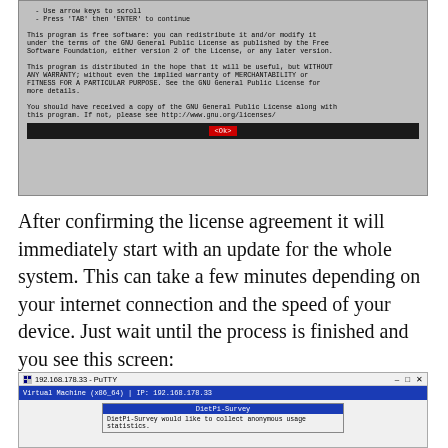[Figure (screenshot): Terminal screenshot showing GNU General Public License text with an OK button at the bottom, displayed in a gray monospace terminal window]
After confirming the license agreement it will immediately start with an update for the whole system. This can take a few minutes depending on your internet connection and the speed of your device. Just wait until the process is finished and you see this screen:
[Figure (screenshot): PuTTY terminal window showing '192.168.178.33 - PuTTY' title bar, blue status bar with 'Virtual Machine (x86_64) | IP: 192.168.178.33', and a DietPi-Survey dialog box]